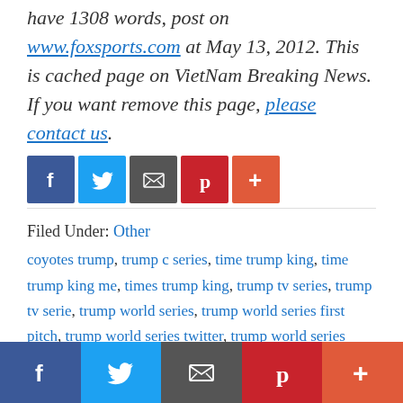coyotes trumped by kings in series opener have 1308 words, post on www.foxsports.com at May 13, 2012. This is cached page on VietNam Breaking News. If you want remove this page, please contact us.
[Figure (infographic): Social sharing buttons row: Facebook (blue), Twitter (light blue), Google/email (grey), Pinterest (red), More/Plus (orange-red)]
Filed Under: Other
coyotes trump, trump c series, time trump king, time trump king me, times trump king, trump tv series, trump tv serie, trump world series, trump world series first pitch, trump world series twitter, trump world series comment, trump world series white house
[Figure (infographic): Bottom social sharing bar: Facebook (blue), Twitter (light blue), Email/Google (grey), Pinterest (red), More/Plus (orange-red)]